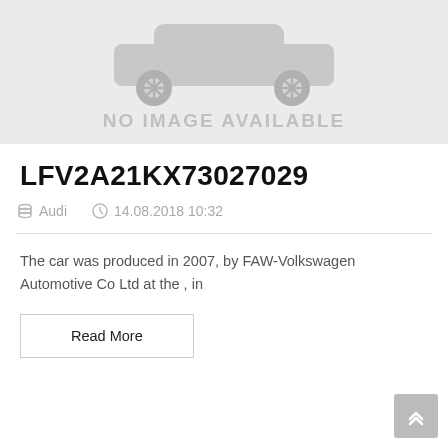[Figure (illustration): No image available placeholder showing a grey car silhouette with the text 'NO IMAGE AVAILABLE']
LFV2A21KX73027029
Audi   14.08.2018 10:32
The car was produced in 2007, by FAW-Volkswagen Automotive Co Ltd at the , in
Read More